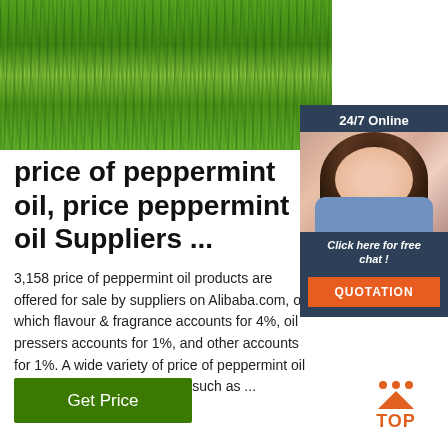[Figure (photo): Close-up photo of green grass/peppermint plants in a field]
[Figure (infographic): 24/7 Online chat widget with a female customer service agent wearing a headset, 'Click here for free chat!' link and orange QUOTATION button]
price of peppermint oil, price peppermint oil Suppliers ...
3,158 price of peppermint oil products are offered for sale by suppliers on Alibaba.com, of which flavour & fragrance accounts for 4%, oil pressers accounts for 1%, and other accounts for 1%. A wide variety of price of peppermint oil options are available to you, such as ...
[Figure (other): Green 'Get Price' button]
[Figure (logo): Orange TOP icon with triangle/dots and the word TOP]